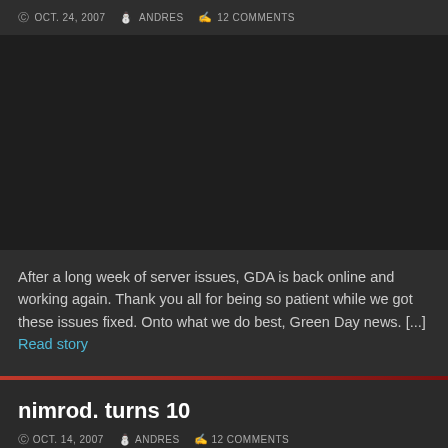OCT. 24, 2007  ANDRES  12 COMMENTS
[Figure (other): Dark placeholder image area]
After a long week of server issues, GDA is back online and working again. Thank you all for being so patient while we got these issues fixed. Onto what we do best, Green Day news. [...] Read story
nimrod. turns 10
OCT. 14, 2007  ANDRES  12 COMMENTS